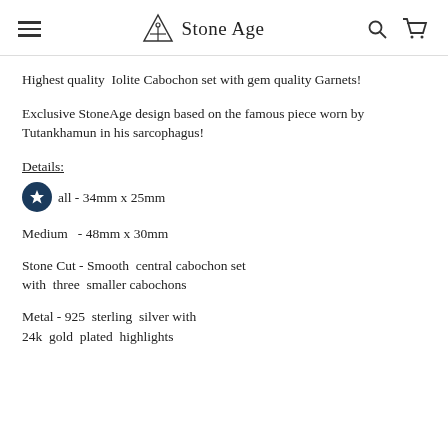Stone Age
Highest quality Iolite Cabochon set with gem quality Garnets!
Exclusive StoneAge design based on the famous piece worn by Tutankhamun in his sarcophagus!
Details:
all - 34mm x 25mm
Medium  - 48mm x 30mm
Stone Cut - Smooth  central cabochon set with  three  smaller cabochons
Metal - 925  sterling  silver with 24k  gold  plated  highlights